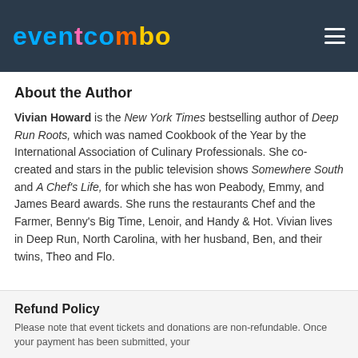eventcombo
About the Author
Vivian Howard is the New York Times bestselling author of Deep Run Roots, which was named Cookbook of the Year by the International Association of Culinary Professionals. She co-created and stars in the public television shows Somewhere South and A Chef's Life, for which she has won Peabody, Emmy, and James Beard awards. She runs the restaurants Chef and the Farmer, Benny's Big Time, Lenoir, and Handy & Hot. Vivian lives in Deep Run, North Carolina, with her husband, Ben, and their twins, Theo and Flo.
Refund Policy
Please note that event tickets and donations are non-refundable. Once your payment has been submitted, your